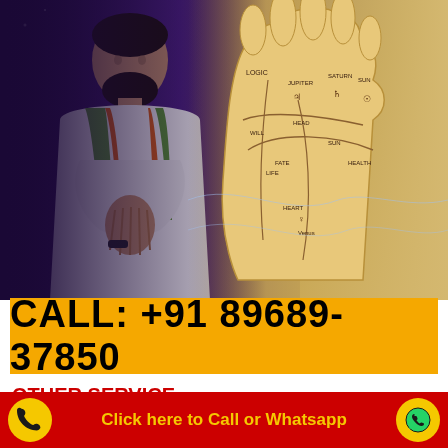[Figure (photo): Photo of an Indian astrologer/pandit in white kurta with green and orange scarf, hands joined in namaste, with a palmistry hand diagram in the background]
CALL:  +91 89689-37850
OTHER SERVICE
Lost Love Back Specialist in Dubbo
Click here to Call or Whatsapp